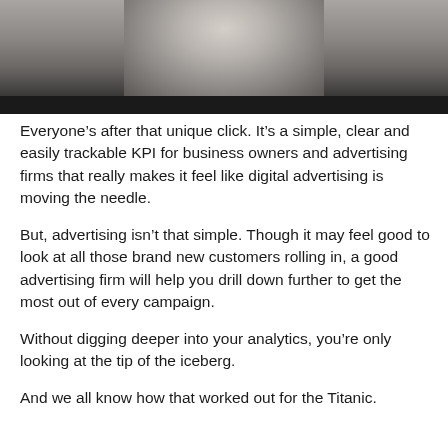[Figure (photo): A man smiling, photographed from the shoulders up, wearing a dark textured top. Background is light/blurred. A black bar appears at the bottom of the image area.]
Everyone’s after that unique click. It’s a simple, clear and easily trackable KPI for business owners and advertising firms that really makes it feel like digital advertising is moving the needle.
But, advertising isn’t that simple. Though it may feel good to look at all those brand new customers rolling in, a good advertising firm will help you drill down further to get the most out of every campaign.
Without digging deeper into your analytics, you’re only looking at the tip of the iceberg.
And we all know how that worked out for the Titanic.